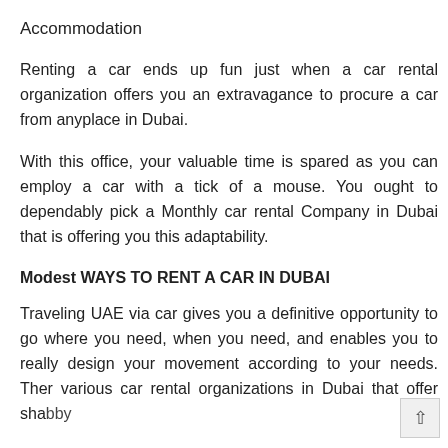Accommodation
Renting a car ends up fun just when a car rental organization offers you an extravagance to procure a car from anyplace in Dubai.
With this office, your valuable time is spared as you can employ a car with a tick of a mouse. You ought to dependably pick a Monthly car rental Company in Dubai that is offering you this adaptability.
Modest WAYS TO RENT A CAR IN DUBAI
Traveling UAE via car gives you a definitive opportunity to go where you need, when you need, and enables you to really design your movement according to your needs. There various car rental organizations in Dubai that offer shabby